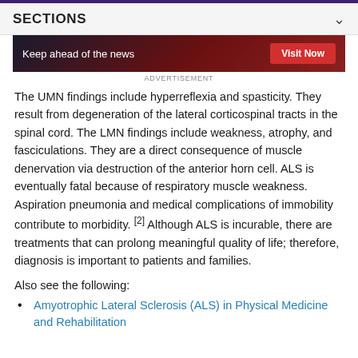SECTIONS
[Figure (other): Advertisement banner: 'Keep ahead of the news' with a red 'Visit Now' button on a dark background]
ADVERTISEMENT
The UMN findings include hyperreflexia and spasticity. They result from degeneration of the lateral corticospinal tracts in the spinal cord. The LMN findings include weakness, atrophy, and fasciculations. They are a direct consequence of muscle denervation via destruction of the anterior horn cell. ALS is eventually fatal because of respiratory muscle weakness. Aspiration pneumonia and medical complications of immobility contribute to morbidity. [2] Although ALS is incurable, there are treatments that can prolong meaningful quality of life; therefore, diagnosis is important to patients and families.
Also see the following:
Amyotrophic Lateral Sclerosis (ALS) in Physical Medicine and Rehabilitation